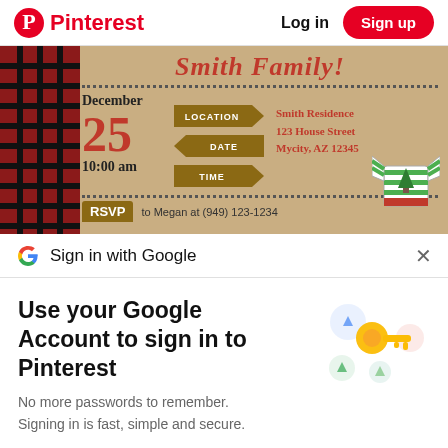Pinterest  Log in  Sign up
[Figure (illustration): A Christmas party invitation for the Smith Family. Shows December 25, 10:00 am, with location/date/time directional signs, Smith Residence 123 House Street Mycity AZ 12345, RSVP to Megan at (949) 123-1234, ugly sweater graphic, plaid border on left.]
Sign in with Google
Use your Google Account to sign in to Pinterest
No more passwords to remember. Signing in is fast, simple and secure.
Continue